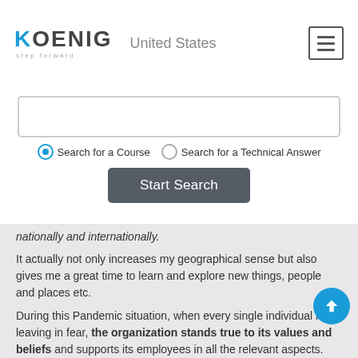KOENIG step forward | United States
[Figure (screenshot): Search bar UI with radio buttons: 'Search for a Course' (selected) and 'Search for a Technical Answer', and a 'Start Search' button]
nationally and internationally.
It actually not only increases my geographical sense but also gives me a great time to learn and explore new things, people and places etc.
During this Pandemic situation, when every single individual is leaving in fear, the organization stands true to its values and beliefs and supports its employees in all the relevant aspects. Where it is technical or infrastructure setup, the company has gone out of its way to help their employees.
Really I feel blessed to be a part of this extended family of